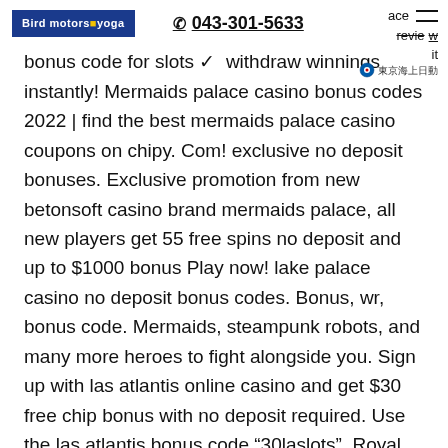[Figure (logo): Blue rectangle logo reading 'Bird motors yoga' with yellow dot]
043-301-5633
ace __ review it
[Figure (logo): Tokio Marine logo with Japanese text 東京海上日動]
bonus code for slots ✓  withdraw winnings instantly! Mermaids palace casino bonus codes 2022 | find the best mermaids palace casino coupons on chipy. Com! exclusive no deposit bonuses. Exclusive promotion from new betonsoft casino brand mermaids palace, all new players get 55 free spins no deposit and up to $1000 bonus Play now! lake palace casino no deposit bonus codes. Bonus, wr, bonus code. Mermaids, steampunk robots, and many more heroes to fight alongside you. Sign up with las atlantis online casino and get $30 free chip bonus with no deposit required. Use the las atlantis bonus code “30laslots”. Royal vegas gives you welcome bonus when you sign up. Play the best online casino games – slots, roulette, video poker and so much more. Exclusive 1st deposit bonus, available for all